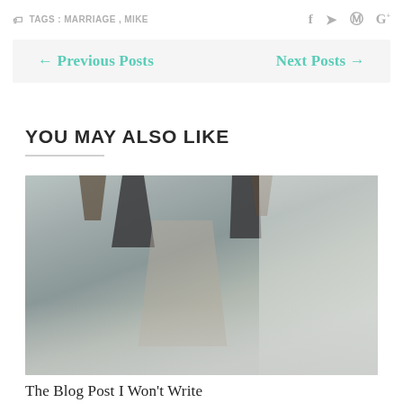TAGS : MARRIAGE , MIKE
← Previous Posts   Next Posts →
YOU MAY ALSO LIKE
[Figure (photo): Reflection of two people holding hands in wet sand on a beach, viewed upside-down in the water reflection.]
The Blog Post I Won't Write